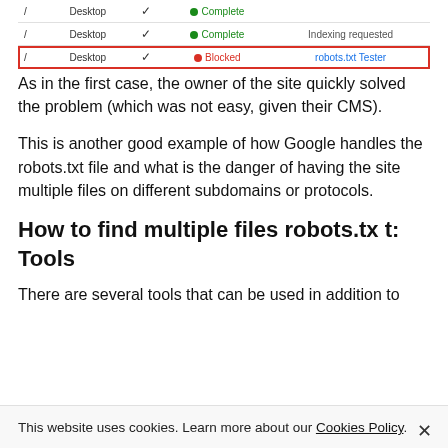|  | Desktop |  | Complete/Blocked |  |
| --- | --- | --- | --- | --- |
| / | Desktop | ✓ | Complete |  |
| / | Desktop | ✓ | Blocked | robots.txt Tester |
As in the first case, the owner of the site quickly solved the problem (which was not easy, given their CMS).
This is another good example of how Google handles the robots.txt file and what is the danger of having the site multiple files on different subdomains or protocols.
How to find multiple files robots.tx t: Tools
There are several tools that can be used in addition to
This website uses cookies. Learn more about our Cookies Policy.